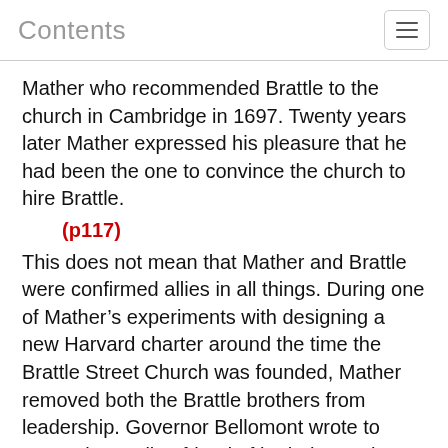Contents
Mather who recommended Brattle to the church in Cambridge in 1697. Twenty years later Mather expressed his pleasure that he had been the one to convince the church to hire Brattle.
(p117)
This does not mean that Mather and Brattle were confirmed allies in all things. During one of Mather’s experiments with designing a new Harvard charter around the time the Brattle Street Church was founded, Mather removed both the Brattle brothers from leadership. Governor Bellomont wrote to Samuel Sewall, a friend of both the Mathers and the Brattles, stating that William Brattle had been removed out of “personal prejudice” and asked whether he should “humor Mr. Mather’s selfishness and pedantic pride, or do right to the virtue, learning, and merit of Mr. Brattle.” 57 The Mathers were a defensive father and son, but